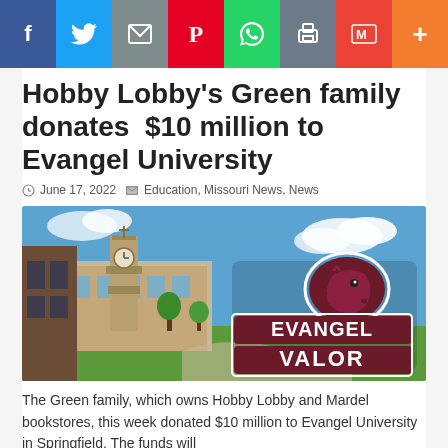[Figure (other): Social media sharing bar with icons for Facebook, Twitter, Email, Pinterest, WhatsApp, Print, Gmail, and More]
Hobby Lobby's Green family donates  $10 million to Evangel University
June 17, 2022   Education, Missouri News, News
[Figure (photo): Evangel University campus photo showing brick buildings, a clock tower, green lawn, blue sky with clouds, and Evangel Valor logo with horse mascot overlaid on the right side]
The Green family, which owns Hobby Lobby and Mardel bookstores, this week donated $10 million to Evangel University in Springfield. The funds will